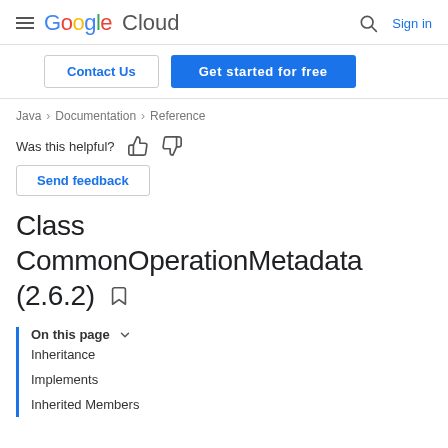Google Cloud — Sign in
Contact Us | Get started for free
Java > Documentation > Reference
Was this helpful?
Send feedback
Class CommonOperationMetadata (2.6.2)
On this page
Inheritance
Implements
Inherited Members